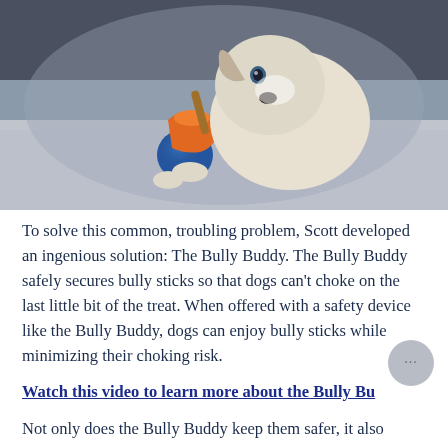[Figure (photo): A small puppy (Jack Russell Terrier type) chewing on a Bully Buddy device — an orange cup with a blue ball base holding a bully stick — on a grey textured rug.]
To solve this common, troubling problem, Scott developed an ingenious solution: The Bully Buddy. The Bully Buddy safely secures bully sticks so that dogs can't choke on the last little bit of the treat. When offered with a safety device like the Bully Buddy, dogs can enjoy bully sticks while minimizing their choking risk.
Watch this video to learn more about the Bully Bu…
Not only does the Bully Buddy keep them safer, it also